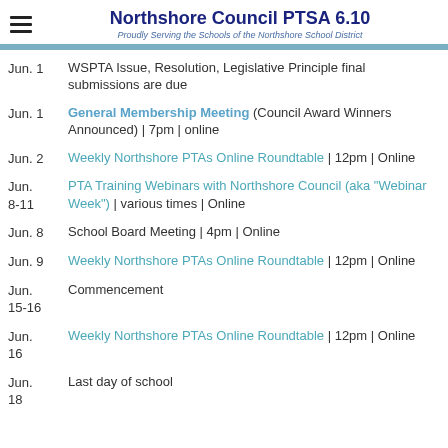Northshore Council PTSA 6.10 — Proudly Serving the Schools of the Northshore School District
Jun. 1 — WSPTA Issue, Resolution, Legislative Principle final submissions are due
Jun. 1 — General Membership Meeting (Council Award Winners Announced) | 7pm | online
Jun. 2 — Weekly Northshore PTAs Online Roundtable | 12pm | Online
Jun. 8-11 — PTA Training Webinars with Northshore Council (aka "Webinar Week") | various times | Online
Jun. 8 — School Board Meeting | 4pm | Online
Jun. 9 — Weekly Northshore PTAs Online Roundtable | 12pm | Online
Jun. 15-16 — Commencement
Jun. 16 — Weekly Northshore PTAs Online Roundtable | 12pm | Online
Jun. 18 — Last day of school